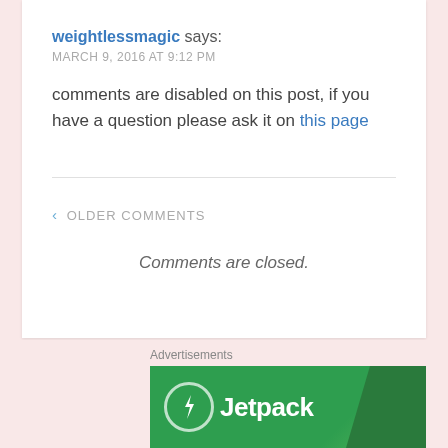weightlessmagic says:
MARCH 9, 2016 AT 9:12 PM
comments are disabled on this post, if you have a question please ask it on this page
‹ OLDER COMMENTS
Comments are closed.
Advertisements
[Figure (logo): Jetpack logo banner with green background, circular bolt icon on left and 'Jetpack' text in white]